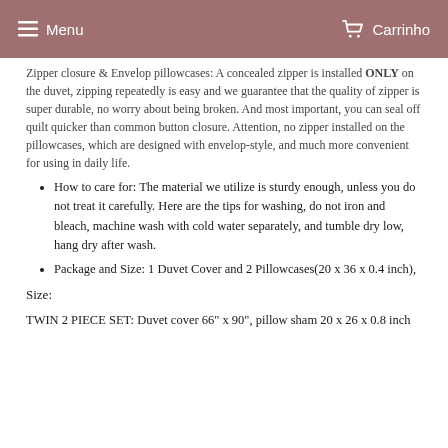Menu   Carrinho
Zipper closure & Envelop pillowcases: A concealed zipper is installed ONLY on the duvet, zipping repeatedly is easy and we guarantee that the quality of zipper is super durable, no worry about being broken. And most important, you can seal off quilt quicker than common button closure. Attention, no zipper installed on the pillowcases, which are designed with envelop-style, and much more convenient for using in daily life.
How to care for: The material we utilize is sturdy enough, unless you do not treat it carefully. Here are the tips for washing, do not iron and bleach, machine wash with cold water separately, and tumble dry low, hang dry after wash.
Package and Size: 1 Duvet Cover and 2 Pillowcases(20 x 36 x 0.4 inch),
Size:
TWIN 2 PIECE SET: Duvet cover 66" x 90", pillow sham 20 x 26 x 0.8 inch